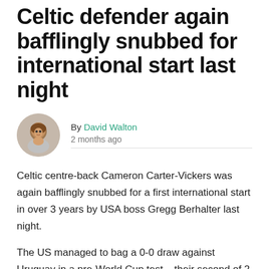Celtic defender again bafflingly snubbed for international start last night
By David Walton
2 months ago
Celtic centre-back Cameron Carter-Vickers was again bafflingly snubbed for a first international start in over 3 years by USA boss Gregg Berhalter last night.
The US managed to bag a 0-0 draw against Uruguay in a pre-World Cup test – their second of 2 friendly matches over the past several days.